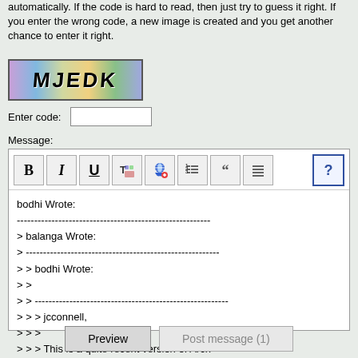automatically. If the code is hard to read, then just try to guess it right. If you enter the wrong code, a new image is created and you get another chance to enter it right.
[Figure (other): CAPTCHA image showing the letters MJEDK in colorful, distorted text on a multi-colored background]
Enter code:
Message:
[Figure (screenshot): Rich text editor toolbar with buttons: B (bold), I (italic), U (underline), color text, insert link, numbered list, quote, justify, and help (?)]
bodhi Wrote:
--------------------------------------------------------
> balanga Wrote:
> --------------------------------------------------------
> > bodhi Wrote:
> >
> > --------------------------------------------------------
> > > jcconnell,
> > >
> > > This is a quite recent version of Arch
> u-boot.
> >
> > Just wondered how you could tell which u-boot
> was
> > being used... I didn't spot any version
Preview
Post message (1)